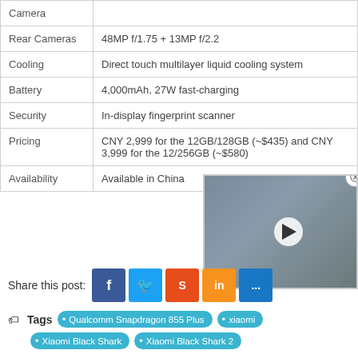| Feature | Details |
| --- | --- |
| Camera |  |
| Rear Cameras | 48MP f/1.75 + 13MP f/2.2 |
| Cooling | Direct touch multilayer liquid cooling system |
| Battery | 4,000mAh, 27W fast-charging |
| Security | In-display fingerprint scanner |
| Pricing | CNY 2,999 for the 12GB/128GB (~$435) and CNY 3,999 for the 12/256GB (~$580) |
| Availability | Available in China |
[Figure (screenshot): Video thumbnail overlay showing 'PRO OR MATURE?' text with a white smartphone and play button, with a close (X) button in the top-right corner]
Share this post:
Tags  Qualcomm Snapdragon 855 Plus  xiaomi  Xiaomi Black Shark  Xiaomi Black Shark 2